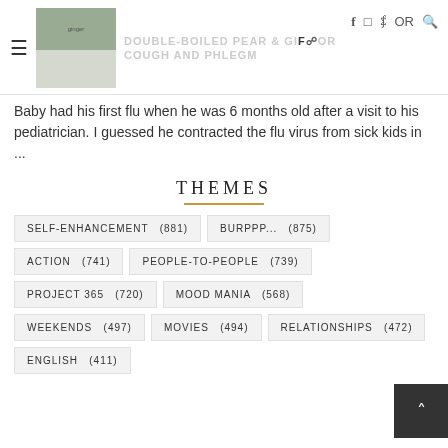DOUBLE-BOILED PEAR & GINGER OR COUGH AND PHLEGM
Baby had his first flu when he was 6 months old after a visit to his pediatrician. I guessed he contracted the flu virus from sick kids in ...
THEMES
SELF-ENHANCEMENT (881)
BURPPP... (875)
ACTION (741)
PEOPLE-TO-PEOPLE (739)
PROJECT 365 (720)
MOOD MANIA (568)
WEEKENDS (497)
MOVIES (494)
RELATIONSHIPS (472)
ENGLISH (411)